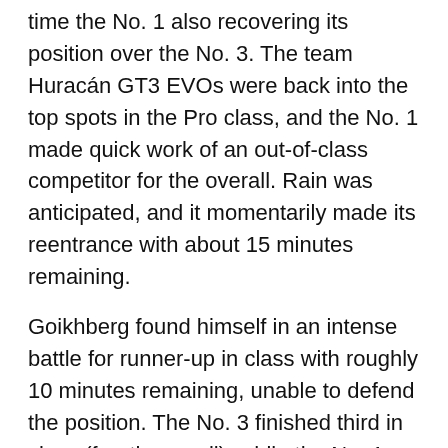time the No. 1 also recovering its position over the No. 3. The team Huracán GT3 EVOs were back into the top spots in the Pro class, and the No. 1 made quick work of an out-of-class competitor for the overall. Rain was anticipated, and it momentarily made its reentrance with about 15 minutes remaining.
Goikhberg found himself in an intense battle for runner-up in class with roughly 10 minutes remaining, unable to defend the position. The No. 3 finished third in class (fourth overall), while the No. 1 had plenty of real estate to cross the line as the victor.
“I think it’s very clear throughout all our years of racing and with different manufacturers…” Law said. “It doesn’t matter what cars or drivers we have. We have an amazing group of guys in this program that can always get it done in the end. This is sort of a testament to that.”
“We were thrown a wrench here with the situation after the first round, but we adapted and just made it work. We did our